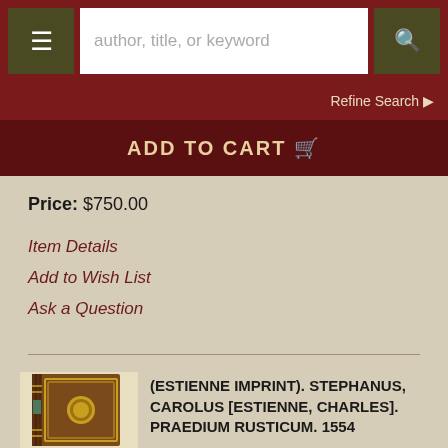author, title, or keyword [search bar]
Refine Search ▶
ADD TO CART 🛒
Price: $750.00
Item Details
Add to Wish List
Ask a Question
[Figure (photo): A leather-bound antique book with gold decorative border and central medallion on the cover, spine visible, standing upright.]
(ESTIENNE IMPRINT). STEPHANUS, CAROLUS [ESTIENNE, CHARLES]. PRAEDIUM RUSTICUM. 1554